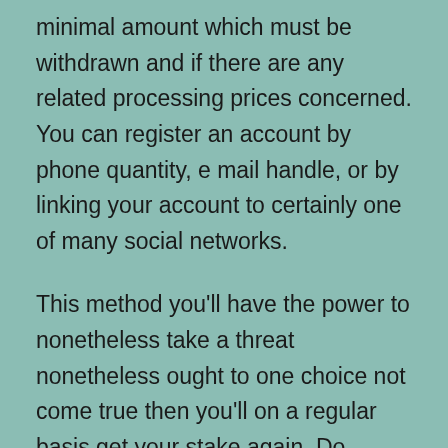minimal amount which must be withdrawn and if there are any related processing prices concerned. You can register an account by phone quantity, e mail handle, or by linking your account to certainly one of many social networks.
This method you'll have the power to nonetheless take a threat nonetheless ought to one choice not come true then you'll on a regular basis get your stake again. Do discover that stakes are often returned as free bets so it can be greatest to wager that with the identical bookie and it'll have an expiry . Providing that